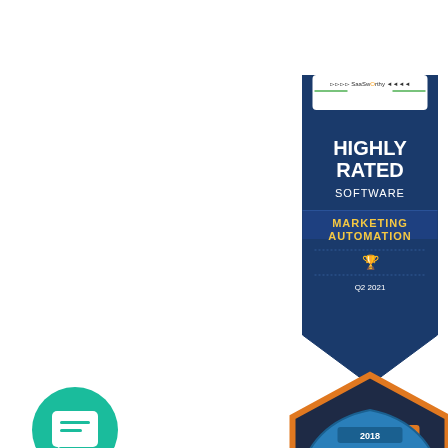[Figure (logo): SaaSworthy Top 20 Highly Rated Software Marketing Automation Q2 2021 badge - shield shape with dark blue background]
[Figure (logo): Software Advice Front Runners 2021 badge - hexagon shape with dark navy background and orange border]
[Figure (logo): Teal circular chat/messenger icon in bottom left corner]
[Figure (logo): 2018 Top 20 Most User Friendly badge partially visible at bottom - blue arch shape with laurel wreath]